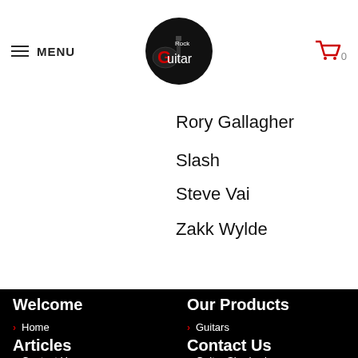MENU | Rock Guitar Universe logo | Cart 0
Rory Gallagher
Slash
Steve Vai
Zakk Wylde
Welcome
Home
About
Contact Us
Artist Anecdotes
Our Products
Guitars
Drum Kits
Guitar Shadowboxes
Gold and Platinum Discs
Rock T-Shirts
Articles
Contact Us